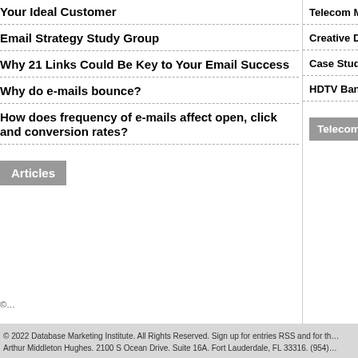Your Ideal Customer
Email Strategy Study Group
Why 21 Links Could Be Key to Your Email Success
Why do e-mails bounce?
How does frequency of e-mails affect open, click and conversion rates?
Articles
Telecom Marketing
Creative Destructio…
Case Study: Wirele…
HDTV Bandwidth R…
Telecom Articles
©
© 2022 Database Marketing Institute. All Rights Reserved. Sign up for entries RSS and for th… Arthur Middleton Hughes. 2100 S Ocean Drive. Suite 16A. Fort Lauderdale, FL 33316. (954)…